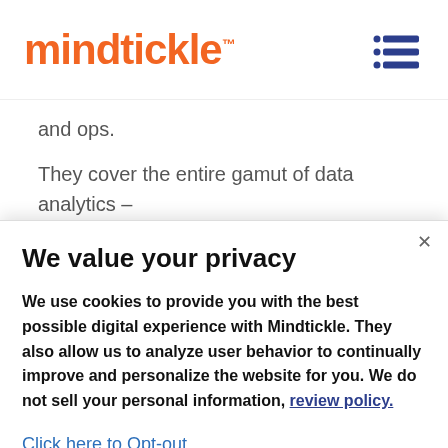[Figure (logo): Mindtickle logo in orange with superscript TM, and a hamburger menu icon in navy blue on the right]
and ops.
They cover the entire gamut of data analytics – from adoption and engagement to learning scores, conversation intelligence, and revenue outcomes. And if editing your dashboards with
We value your privacy
We use cookies to provide you with the best possible digital experience with Mindtickle. They also allow us to analyze user behavior to continually improve and personalize the website for you. We do not sell your personal information, review policy.
Click here to Opt-out